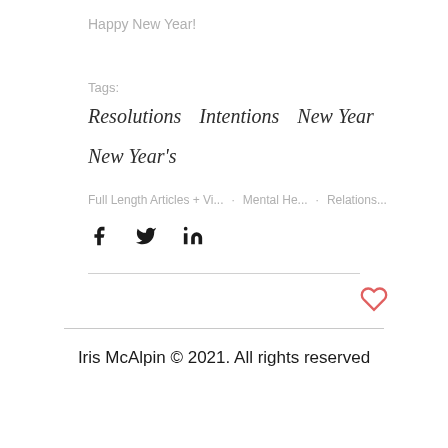Happy New Year!
Tags:
Resolutions   Intentions   New Year
New Year's
Full Length Articles + Vi...  •  Mental He...  •  Relations...
[Social share icons: Facebook, Twitter, LinkedIn]
[Heart/like icon]
Iris McAlpin © 2021. All rights reserved